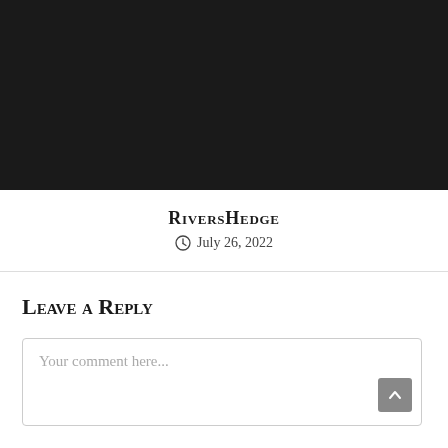[Figure (photo): Dark/black image at top of page, likely a photograph with very dark or black content]
RiversHedge
July 26, 2022
Leave a Reply
Your comment here...